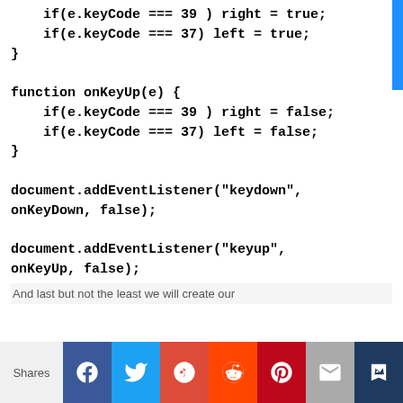if(e.keyCode === 39 ) right = true;
    if(e.keyCode === 37) left = true;
}

function onKeyUp(e) {
    if(e.keyCode === 39 ) right = false;
    if(e.keyCode === 37) left = false;
}

document.addEventListener("keydown",
onKeyDown, false);

document.addEventListener("keyup",
onKeyUp, false);
And last but not the least we will create our
[Figure (infographic): Social share bar with Shares label and buttons: Facebook, Twitter, Google+, Reddit, Pinterest, Mail, Crown/bookmark]